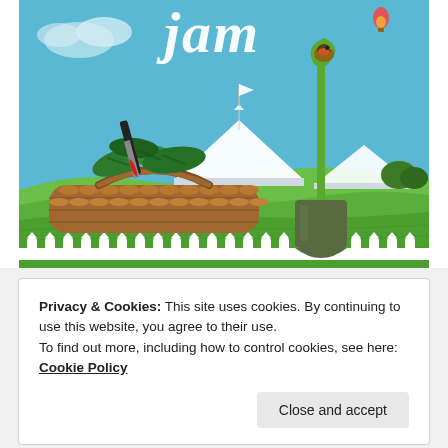[Figure (illustration): Illustration showing a cozy scene with a wicker basket containing green vegetables and a knife with a red-stained blade, a green garden spade with a robin bird perched on top, white marquee tents, rolling green farmland fields, a white picket fence, blue sky with clouds, a hot air balloon, and cursive white text at the top reading 'jam'.]
Privacy & Cookies: This site uses cookies. By continuing to use this website, you agree to their use.
To find out more, including how to control cookies, see here: Cookie Policy